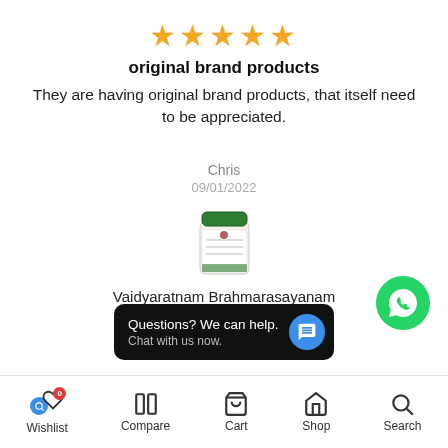[Figure (other): Five gold star rating icons]
original brand products
They are having original brand products, that itself need to be appreciated.
Chris
09/01/2022
[Figure (photo): Product image of Vaidyaratnam Brahmarasayanam — a small jar with green lid and label]
Vaidyaratnam Brahmarasayanam
[Figure (other): Navigation arrows (previous and next) for carousel]
[Figure (other): WhatsApp contact button — green circle with phone/chat icon]
[Figure (other): Chat popup: Questions? We can help. Chat with us now.]
Wishlist   Compare   Cart   Shop   Search